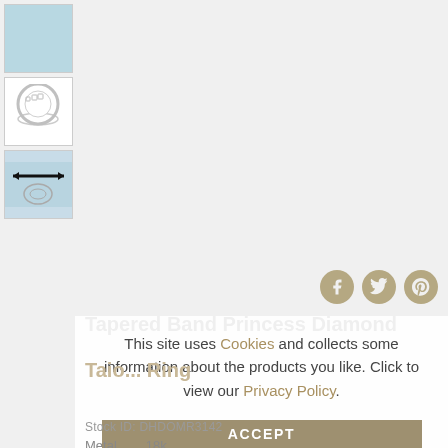[Figure (photo): Light blue placeholder thumbnail (top)]
[Figure (photo): White background thumbnail showing a tapered band princess diamond ring from above]
[Figure (photo): Light blue thumbnail showing ring width measurement diagram with arrows]
Tapered Band Princess Diamond
Tapered Ring (subtitle continuation)
Stock ID: DHDOMR3142
Metal   18k...
This site uses Cookies and collects some information about the products you like. Click to view our Privacy Policy.
ACCEPT